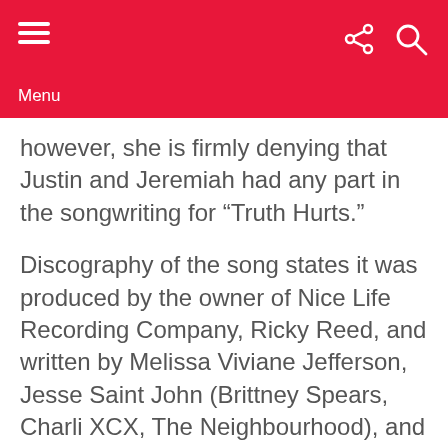Menu
however, she is firmly denying that Justin and Jeremiah had any part in the songwriting for “Truth Hurts.”
Discography of the song states it was produced by the owner of Nice Life Recording Company, Ricky Reed, and written by Melissa Viviane Jefferson, Jesse Saint John (Brittney Spears, Charli XCX, The Neighbourhood), and Steven Cheung.
Here is yet another lesser-known fact. Oddly